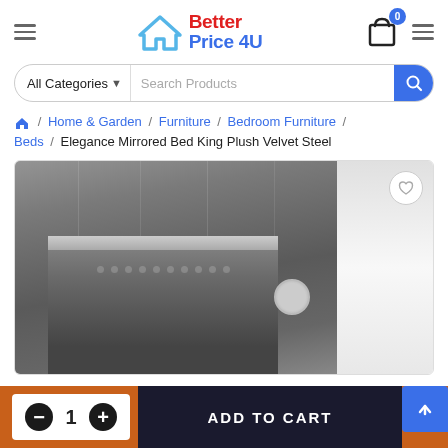[Figure (logo): Better Price 4U logo with house/triangle icon in blue, text 'Better' in red and 'Price 4U' in blue]
All Categories  Search Products
Home / Home & Garden / Furniture / Bedroom Furniture / Beds / Elegance Mirrored Bed King Plush Velvet Steel
[Figure (photo): Product photo of a mirrored bed with tufted headboard in dark velvet, steel frame, against a dark paneled wall background]
1  ADD TO CART